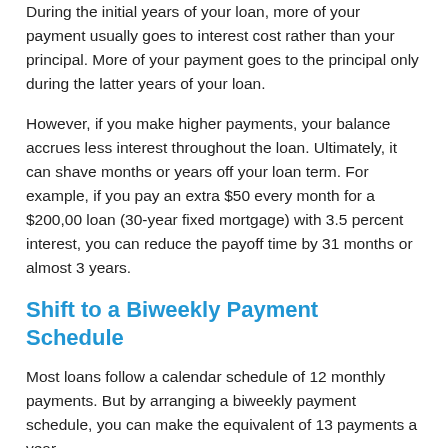During the initial years of your loan, more of your payment usually goes to interest cost rather than your principal. More of your payment goes to the principal only during the latter years of your loan.
However, if you make higher payments, your balance accrues less interest throughout the loan. Ultimately, it can shave months or years off your loan term. For example, if you pay an extra $50 every month for a $200,00 loan (30-year fixed mortgage) with 3.5 percent interest, you can reduce the payoff time by 31 months or almost 3 years.
Shift to a Biweekly Payment Schedule
Most loans follow a calendar schedule of 12 monthly payments. But by arranging a biweekly payment schedule, you can make the equivalent of 13 payments a year.